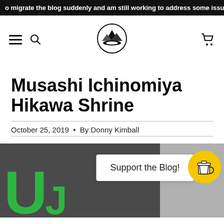o migrate the blog suddenly and am still working to address some issues...
[Figure (logo): Navigation bar with hamburger menu, search icon, circular mountain landscape logo, and shopping cart icon]
Musashi Ichinomiya Hikawa Shrine
October 25, 2019 • By Donny Kimball
[Figure (photo): Partial photo of a sign with green letters, overlaid with a white 'Support the Blog!' popup box and a yellow circular coffee cup button]